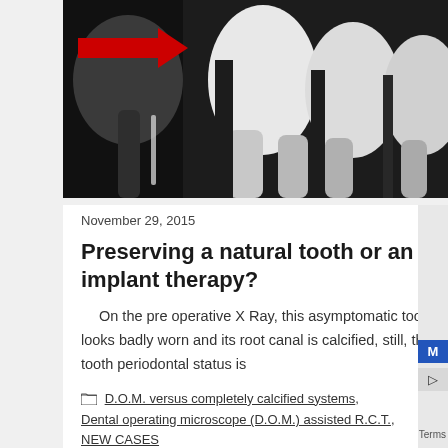[Figure (photo): Black and white dental X-ray image showing teeth with a red arrow pointing to the left side indicating a specific tooth of interest]
November 29, 2015
Preserving a natural tooth or an implant therapy?
On the pre operative X Ray, this asymptomatic tooth looks badly worn and its root canal is calcified, still, this tooth periodontal status is
D.O.M. versus completely calcified systems,
Dental operating microscope (D.O.M.) assisted R.C.T.,
NEW CASES